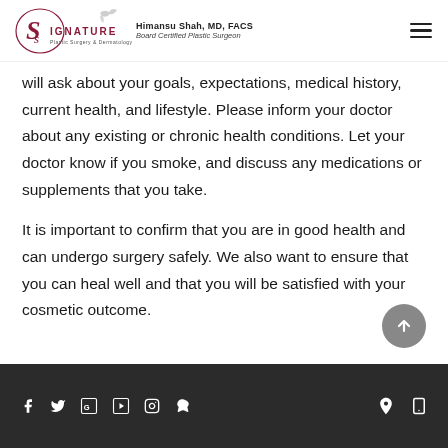Signature Plastic Surgery & Dermatology — Himansu Shah, MD, FACS, Board Certified Plastic Surgeon
will ask about your goals, expectations, medical history, current health, and lifestyle. Please inform your doctor about any existing or chronic health conditions. Let your doctor know if you smoke, and discuss any medications or supplements that you take.
It is important to confirm that you are in good health and can undergo surgery safely. We also want to ensure that you can heal well and that you will be satisfied with your cosmetic outcome.
Social media icons (Facebook, Twitter, Google, YouTube, Instagram, Yelp) | Location icon | Mobile icon